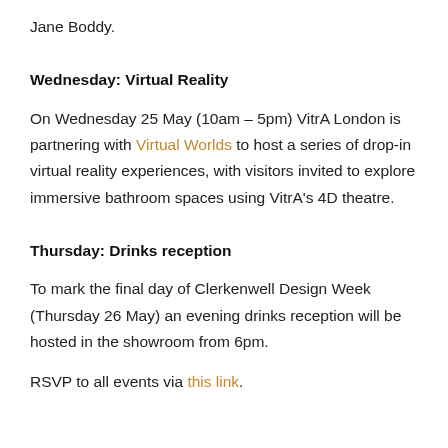Jane Boddy.
Wednesday: Virtual Reality
On Wednesday 25 May (10am – 5pm) VitrA London is partnering with Virtual Worlds to host a series of drop-in virtual reality experiences, with visitors invited to explore immersive bathroom spaces using VitrA's 4D theatre.
Thursday: Drinks reception
To mark the final day of Clerkenwell Design Week (Thursday 26 May) an evening drinks reception will be hosted in the showroom from 6pm.
RSVP to all events via this link.